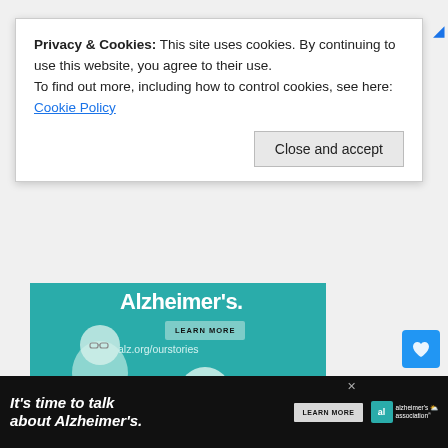Privacy & Cookies: This site uses cookies. By continuing to use this website, you agree to their use.
To find out more, including how to control cookies, see here: Cookie Policy
Close and accept
[Figure (illustration): Alzheimer's Association advertisement with teal background showing two elderly people illustrated in white/green line art style. Text reads 'Alzheimer's.' with 'LEARN MORE' button and 'alz.org/ourstories' URL. Alzheimer's association logo in bottom right with 'ad' marker.]
[Figure (illustration): Bottom banner advertisement: 'It's time to talk about Alzheimer's.' in italic white text on black background, with LEARN MORE button and Alzheimer's association logo.]